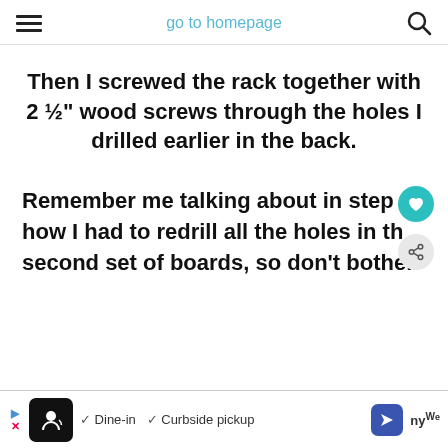go to homepage
Then I screwed the rack together with 2 ½" wood screws through the holes I drilled earlier in the back.
Remember me talking about in step how I had to redrill all the holes in th second set of boards, so don't bother
[Figure (screenshot): Ad banner with chef logo, Dine-in, Curbside pickup options, navigation arrow icon, and brand text]